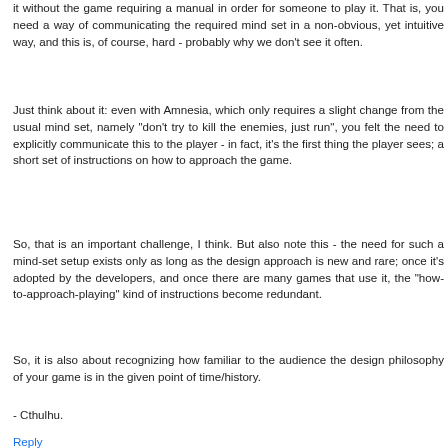it without the game requiring a manual in order for someone to play it. That is, you need a way of communicating the required mind set in a non-obvious, yet intuitive way, and this is, of course, hard - probably why we don't see it often.
Just think about it: even with Amnesia, which only requires a slight change from the usual mind set, namely "don't try to kill the enemies, just run", you felt the need to explicitly communicate this to the player - in fact, it's the first thing the player sees; a short set of instructions on how to approach the game.
So, that is an important challenge, I think. But also note this - the need for such a mind-set setup exists only as long as the design approach is new and rare; once it's adopted by the developers, and once there are many games that use it, the "how-to-approach-playing" kind of instructions become redundant.
So, it is also about recognizing how familiar to the audience the design philosophy of your game is in the given point of time/history.
- Cthulhu.
Reply